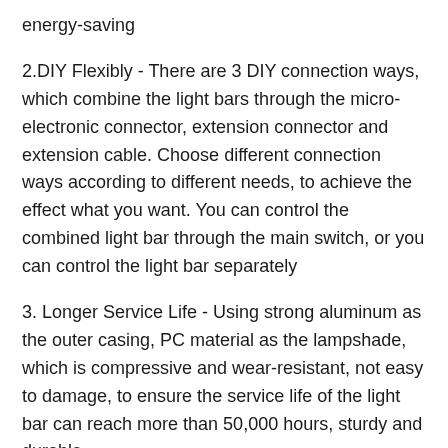energy-saving
2.DIY Flexibly - There are 3 DIY connection ways, which combine the light bars through the micro-electronic connector, extension connector and extension cable. Choose different connection ways according to different needs, to achieve the effect what you want. You can control the combined light bar through the main switch, or you can control the light bar separately
3. Longer Service Life - Using strong aluminum as the outer casing, PC material as the lampshade, which is compressive and wear-resistant, not easy to damage, to ensure the service life of the light bar can reach more than 50,000 hours, sturdy and durable
4. Two Installation Ways - The installation is very simple.